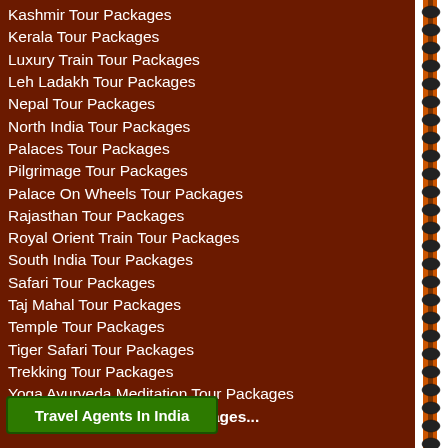Kashmir Tour Packages
Kerala Tour Packages
Luxury Train Tour Packages
Leh Ladakh Tour Packages
Nepal Tour Packages
North India Tour Packages
Palaces Tour Packages
Pilgrimage Tour Packages
Palace On Wheels Tour Packages
Rajasthan Tour Packages
Royal Orient Train Tour Packages
South India Tour Packages
Safari Tour Packages
Taj Mahal Tour Packages
Temple Tour Packages
Tiger Safari Tour Packages
Trekking Tour Packages
Yoga Ayurveda Meditation Tour Packages
more about India Tour Packages...
Travel Agents In India